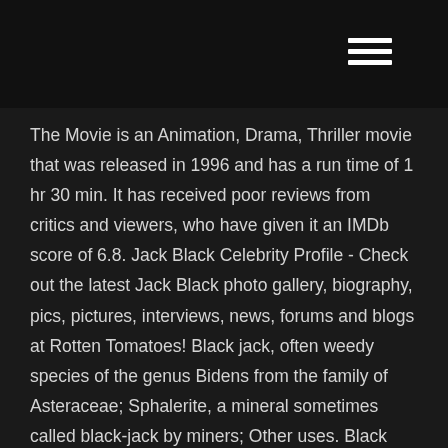The Movie is an Animation, Drama, Thriller movie that was released in 1996 and has a run time of 1 hr 30 min. It has received poor reviews from critics and viewers, who have given it an IMDb score of 6.8. Jack Black Celebrity Profile - Check out the latest Jack Black photo gallery, biography, pics, pictures, interviews, news, forums and blogs at Rotten Tomatoes! Black jack, often weedy species of the genus Bidens from the family of Asteraceae; Sphalerite, a mineral sometimes called black-jack by miners; Other uses. Black Jack (horse) (1947–1976), a horse used in U.S. Armed Forces full honors funerals; Black Jack (stamp), a United States postage stamp; STV Black Jack, a 1904 Canadian brigantine With all the existing variants, blackjack has also captured the world of cinema, inspiring production of